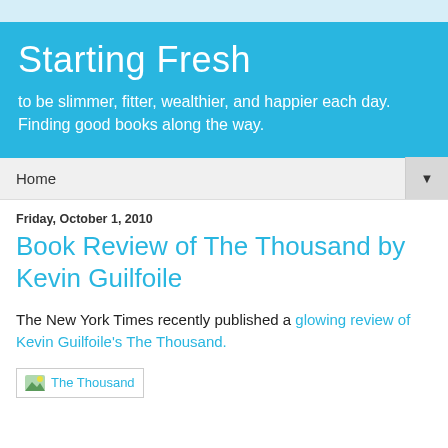Starting Fresh
to be slimmer, fitter, wealthier, and happier each day. Finding good books along the way.
Home
Friday, October 1, 2010
Book Review of The Thousand by Kevin Guilfoile
The New York Times recently published a glowing review of Kevin Guilfoile's The Thousand.
[Figure (illustration): Book cover image placeholder labeled 'The Thousand']